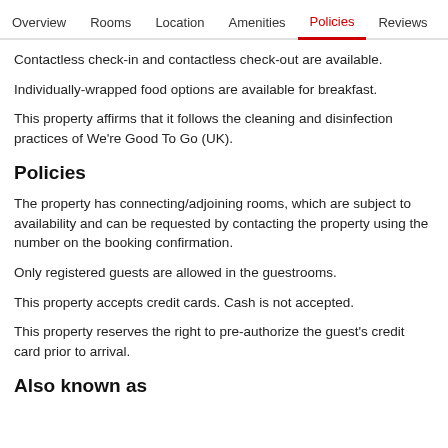Overview  Rooms  Location  Amenities  Policies  Reviews
Contactless check-in and contactless check-out are available.
Individually-wrapped food options are available for breakfast.
This property affirms that it follows the cleaning and disinfection practices of We're Good To Go (UK).
Policies
The property has connecting/adjoining rooms, which are subject to availability and can be requested by contacting the property using the number on the booking confirmation.
Only registered guests are allowed in the guestrooms.
This property accepts credit cards. Cash is not accepted.
This property reserves the right to pre-authorize the guest's credit card prior to arrival.
Also known as